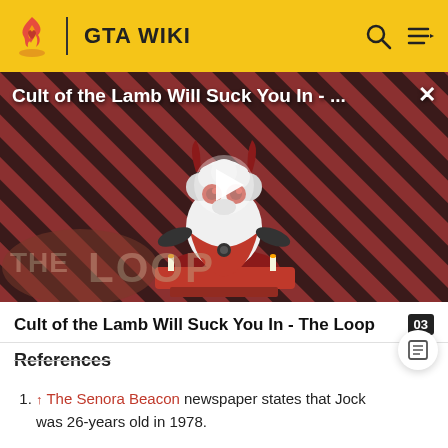GTA WIKI
[Figure (screenshot): Video thumbnail for 'Cult of the Lamb Will Suck You In - The Loop' showing a cartoon lamb character with red eyes on a red and dark diagonal striped background, with THE LOOP watermark. A play button is visible in the center.]
Cult of the Lamb Will Suck You In - The Loop
References
↑ The Senora Beacon newspaper states that Jock was 26-years old in 1978.